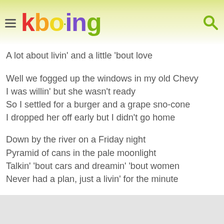kboing
A lot about livin' and a little 'bout love
Well we fogged up the windows in my old Chevy
I was willin' but she wasn't ready
So I settled for a burger and a grape sno-cone
I dropped her off early but I didn't go home
Down by the river on a Friday night
Pyramid of cans in the pale moonlight
Talkin' 'bout cars and dreamin' 'bout women
Never had a plan, just a livin' for the minute